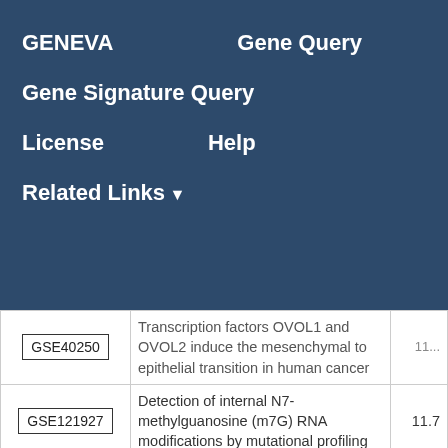GENEVA   Gene Query   Gene Signature Query   License   Help   Related Links ▼
| GEO ID | Title | Score |
| --- | --- | --- |
| GSE40250 | Transcription factors OVOL1 and OVOL2 induce the mesenchymal to epithelial transition in human cancer | 11... |
| GSE121927 | Detection of internal N7-methylguanosine (m7G) RNA modifications by mutational profiling | 11.7 |